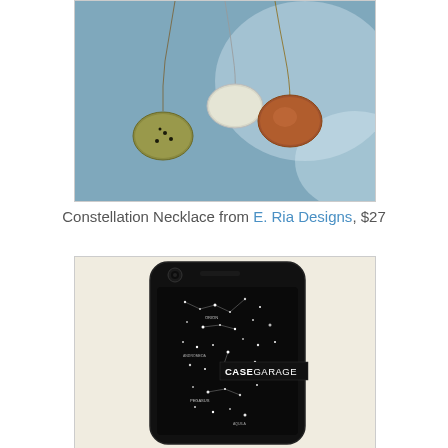[Figure (photo): Three oval constellation necklaces with chain pendants on a blue-grey fabric background. One silver/clear, one copper/brown, one gold/yellow-green.]
Constellation Necklace from E. Ria Designs, $27
[Figure (photo): Black iPhone case with white constellation star map design. A 'CASEGARAGE' watermark label is overlaid on the case.]